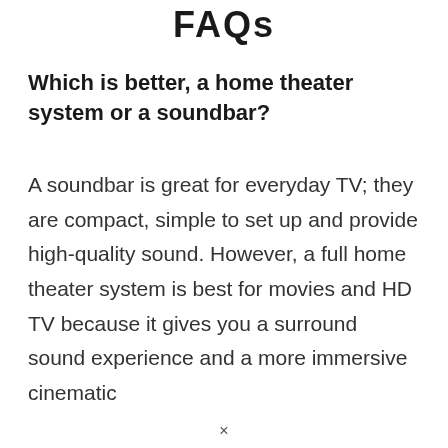FAQs
Which is better, a home theater system or a soundbar?
A soundbar is great for everyday TV; they are compact, simple to set up and provide high-quality sound. However, a full home theater system is best for movies and HD TV because it gives you a surround sound experience and a more immersive cinematic
×